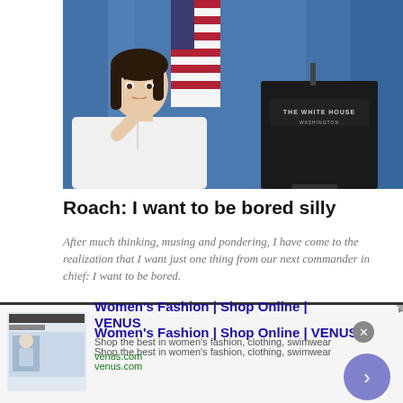[Figure (photo): Woman resting chin on hand looking bored/contemplative, seated in front of a White House podium with American flag in background]
Roach: I want to be bored silly
After much thinking, musing and pondering, I have come to the realization that I want just one thing from our next commander in chief: I want to be bored.
October 2020
[Figure (photo): Partial image of second article, appears to be a black and white photo with stars pattern]
By clicking “Accept All Cookies”, you agree to the storing of cookies on your device to enhance site navigation, analyze site usage, and assist in our marketing efforts.
[Figure (screenshot): Advertisement for VENUS Women's Fashion online shop]
Women's Fashion | Shop Online | VENUS
Shop the best in women's fashion, clothing, swimwear
venus.com